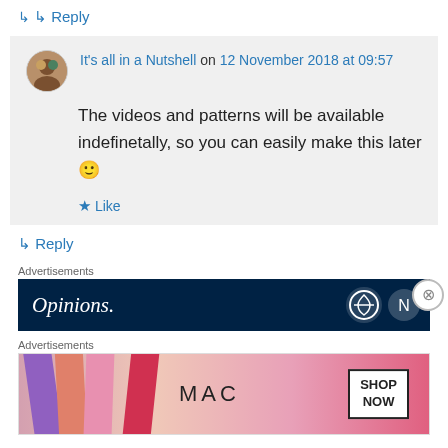↳ Reply
It's all in a Nutshell on 12 November 2018 at 09:57
The videos and patterns will be available indefinetally, so you can easily make this later 🙂
★ Like
↳ Reply
Advertisements
[Figure (screenshot): Dark navy blue advertisement banner with text 'Opinions.' in white italic serif font and WordPress logo icon on the right]
Advertisements
[Figure (screenshot): MAC Cosmetics advertisement showing colorful lipsticks with 'MAC' brand name and 'SHOP NOW' button]